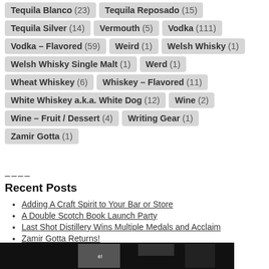Tequila Blanco (23)
Tequila Reposado (15)
Tequila Silver (14)
Vermouth (5)
Vodka (111)
Vodka – Flavored (59)
Weird (1)
Welsh Whisky (1)
Welsh Whisky Single Malt (1)
Werd (1)
Wheat Whiskey (6)
Whiskey – Flavored (11)
White Whiskey a.k.a. White Dog (12)
Wine (2)
Wine – Fruit / Dessert (4)
Writing Gear (1)
Zamir Gotta (1)
Recent Posts
Adding A Craft Spirit to Your Bar or Store
A Double Scotch Book Launch Party
Last Shot Distillery Wins Multiple Medals and Acclaim
Zamir Gotta Returns!
Putting The Geek Back Into Spirits Geek
[Figure (photo): Bottom banner image with dark/black background and some grey blocks, appears to be a logo or promotional image]